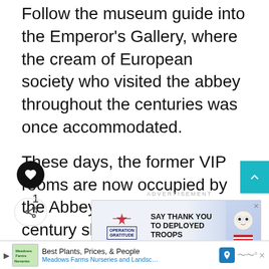Follow the museum guide into the Emperor's Gallery, where the cream of European society who visited the abbey throughout the centuries was once accommodated.
These days, the former VIP rooms are now occupied by the Abbey Museum, a 21st-century showcase of Benedictine grandeur.
[Figure (screenshot): Social interaction buttons: heart/like button (black circle), scroll-up button (teal), like count '1', share button, advertisement banner for Operation Gratitude 'SAY THANK YOU TO DEPLOYED TROOPS', What's Next teaser for '20 Beautiful Danube Rive...' with thumbnail]
[Figure (screenshot): Bottom advertisement banner: Meadows Farms Nurseries logo, text 'Best Plants, Prices, & People', 'Meadows Farms Nurseries and Landsc...', navigation icon, close button, audio icon]